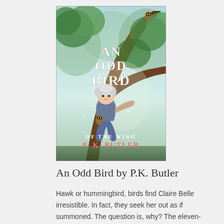[Figure (illustration): Book cover of 'An Odd Bird of the Wing' by P.K. Butler. Shows a young child with white/silver hair sitting in a large tree, holding a small owl. The background features a misty forest. Title text 'AN ODD BIRD' appears in large white serif letters at the top, 'OF THE WING' in smaller white text below, and 'P. K. BUTLER' in pink/salmon colored text at the bottom.]
An Odd Bird by P.K. Butler
Hawk or hummingbird, birds find Claire Belle irresistible. In fact, they seek her out as if summoned. The question is, why? The eleven-year-old searches for answers with the help of two